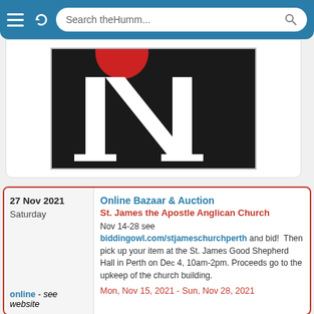Search theHumm...
[Figure (logo): Large black square logo with a white serif letter N and a red circular dot above it — partial view cropped at top]
27 Nov 2021
Saturday
Online Bazaar & Auction
St. James the Apostle Anglican Church
Nov 14-28 see biddingowl.com/stjameschurchperth and bid! Then pick up your item at the St. James Good Shepherd Hall in Perth on Dec 4, 10am-2pm. Proceeds go to the upkeep of the church building.
Mon, Nov 15, 2021 - Sun, Nov 28, 2021
online - see website